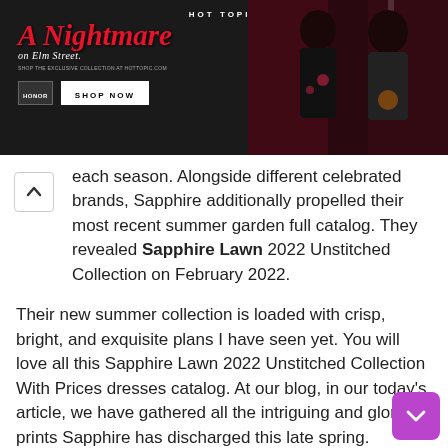[Figure (screenshot): Hot Topic advertisement banner featuring 'A Nightmare on Elm Street' themed merchandise with two people in dark clothing against red curtain background, with SHOP NOW button]
...vanquished the heart of women by delivering marvelous pieces each season. Alongside different celebrated brands, Sapphire additionally propelled their most recent summer garden full catalog. They revealed Sapphire Lawn 2022 Unstitched Collection on February 2022.
Their new summer collection is loaded with crisp, bright, and exquisite plans I have seen yet. You will love all this Sapphire Lawn 2022 Unstitched Collection With Prices dresses catalog. At our blog, in our today's article, we have gathered all the intriguing and glorious prints Sapphire has discharged this late spring.
Newfashionelle loves to share the latest dresses that you only love. Ladies dependably go for lively and engaging dresses and this time, Sapphire splendidly came up to the desires of women. Women like vivid yet not too bad Lawn fashionable prints and the brand has propelled such examples which each woman will love purchasing.